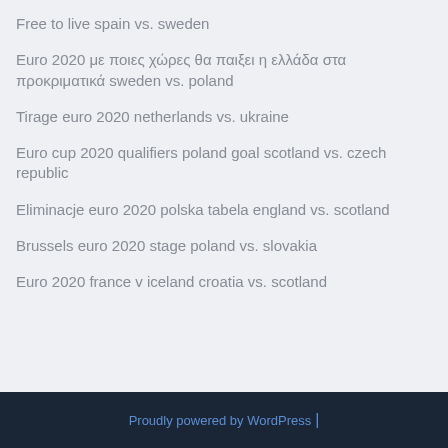Free to live spain vs. sweden
Euro 2020 με ποιες χώρες θα παιξει η ελλάδα στα προκριματικά sweden vs. poland
Tirage euro 2020 netherlands vs. ukraine
Euro cup 2020 qualifiers poland goal scotland vs. czech republic
Eliminacje euro 2020 polska tabela england vs. scotland
Brussels euro 2020 stage poland vs. slovakia
Euro 2020 france v iceland croatia vs. scotland
Proudly powered by WordPress |